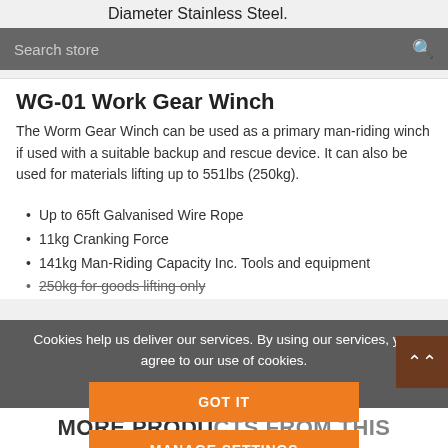Diameter Stainless Steel.
WG-01 Work Gear Winch
The Worm Gear Winch can be used as a primary man-riding winch if used with a suitable backup and rescue device. It can also be used for materials lifting up to 551lbs (250kg).
Up to 65ft Galvanised Wire Rope
11kg Cranking Force
141kg Man-Riding Capacity Inc. Tools and equipment
250kg for goods lifting only
Cookies help us deliver our services. By using our services, you agree to our use of cookies.
GOT IT
MANAGE SETTINGS
Learn more
MORE PRODUCTS FROM THIS